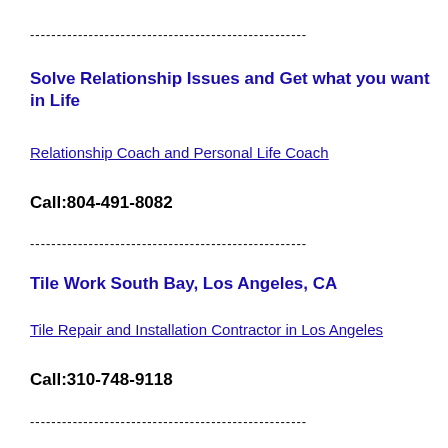----------------------------------------------------
Solve Relationship Issues and Get what you want in Life
Relationship Coach and Personal Life Coach
Call:804-491-8082
----------------------------------------------------
Tile Work South Bay, Los Angeles, CA
Tile Repair and Installation Contractor in Los Angeles
Call:310-748-9118
----------------------------------------------------